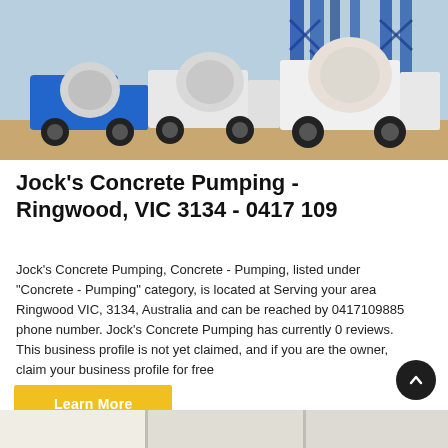[Figure (photo): Photo of multiple concrete mixer trucks parked at a construction site with blue industrial structures in the background.]
Jock's Concrete Pumping - Ringwood, VIC 3134 - 0417 109
Jock's Concrete Pumping, Concrete - Pumping, listed under "Concrete - Pumping" category, is located at Serving your area Ringwood VIC, 3134, Australia and can be reached by 0417109885 phone number. Jock's Concrete Pumping has currently 0 reviews. This business profile is not yet claimed, and if you are the owner, claim your business profile for free
[Figure (photo): Partial bottom image, appears to be another business or location photo, partially visible at the bottom of the page.]